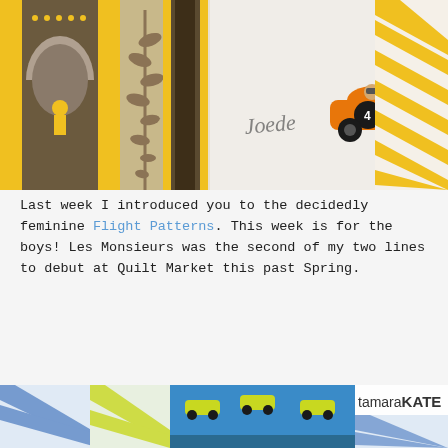[Figure (illustration): Top banner showing fabric/textile design samples by Tamara Kate: left section shows illustrated architecture with yellow and brown tones, center shows a cursive signature and an orange race car, right edge shows yellow chevron pattern.]
Last week I introduced you to the decidedly feminine Flight Patterns. This week is for the boys! Les Monsieurs was the second of my two lines to debut at Quilt Market this past Spring.
[Figure (illustration): Bottom section showing fabric/quilt design samples from Les Monsieurs by Tamara Kate: blue chevron patterns, blue racing cars pattern on blue background, castle/architecture illustrations in teal and navy, and a tamaraKATE logo in the upper right.]